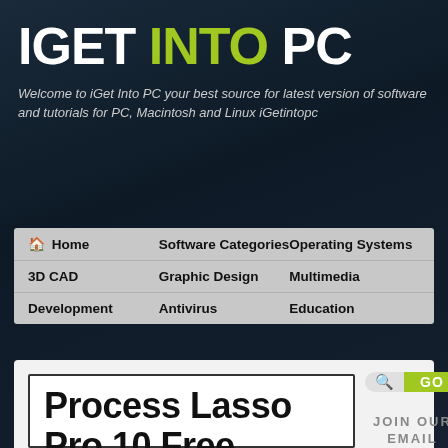IGET INTO PC
Welcome to iGet Into PC your best source for latest version of software and tutorials for PC, Macintosh and Linux iGetintopc
| Home | Software Categories | Operating Systems |
| --- | --- | --- |
| 3D CAD | Graphic Design | Multimedia |
| Development | Antivirus | Education |
Process Lasso Pro 10 Free
[Figure (screenshot): Search bar with GO button in green/yellow]
JOIN OUR EMAIL